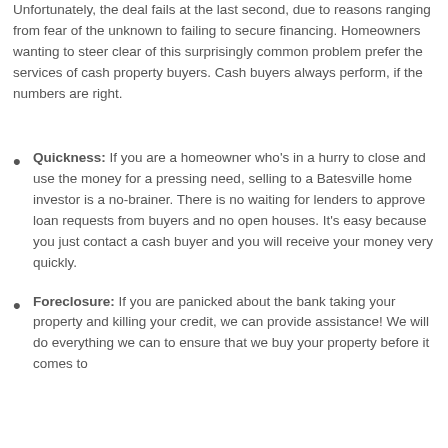Unfortunately, the deal fails at the last second, due to reasons ranging from fear of the unknown to failing to secure financing. Homeowners wanting to steer clear of this surprisingly common problem prefer the services of cash property buyers. Cash buyers always perform, if the numbers are right.
Quickness: If you are a homeowner who's in a hurry to close and use the money for a pressing need, selling to a Batesville home investor is a no-brainer. There is no waiting for lenders to approve loan requests from buyers and no open houses. It's easy because you just contact a cash buyer and you will receive your money very quickly.
Foreclosure: If you are panicked about the bank taking your property and killing your credit, we can provide assistance! We will do everything we can to ensure that we buy your property before it comes to